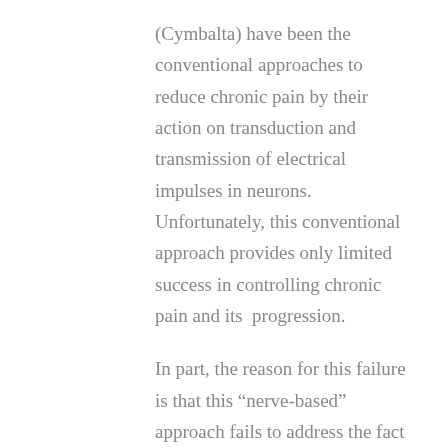(Cymbalta) have been the conventional approaches to reduce chronic pain by their action on transduction and transmission of electrical impulses in neurons. Unfortunately, this conventional approach provides only limited success in controlling chronic pain and its  progression.
In part, the reason for this failure is that this “nerve-based” approach fails to address the fact that the initiation and maintenance of nerve pain (or “neuropathic pain”) largely depends on neuroinflammation. Early studies suggest that medications or supplements that reduce neuroinflammation by inhibiting glial activation and/or stabilizing mast cells may